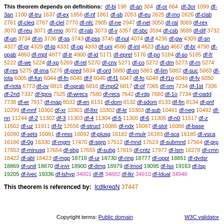This theorem depends on definitions: df-bi 198 df-an 384 df-or 864 df-3or 1099 df-3an 1100 df-tru 1637 df-ex 1856 df-nf 1861 df-sb 2053 df-eu 2625 df-mo 2626 df-clab 2761 df-cleq 2767 df-clel 2770 df-nfc 2905 df-ne 2947 df-nel 3050 df-ral 3069 df-rex 3070 df-reu 3071 df-rmo 3072 df-rab 3073 df-v 3357 df-sbc 3594 df-csb 3689 df-dif 3732 df-un 3734 df-in 3736 df-ss 3743 df-pss 3745 df-nul 4074 df-if 4236 df-pw 4309 df-sn 4327 df-pr 4329 df-tp 4331 df-op 4333 df-uni 4586 df-int 4623 df-iun 4667 df-br 4798 df-opab 4860 df-mpt 4877 df-tr 4900 df-id 5171 df-eprel 5176 df-po 5184 df-so 5185 df-fr 5222 df-we 5224 df-xp 5269 df-rel 5270 df-cnv 5271 df-co 5272 df-dm 5273 df-rn 5274 df-res 5275 df-ima 5276 df-pred 5834 df-ord 5880 df-on 5881 df-lim 5882 df-suc 5883 df-iota 6005 df-fun 6044 df-fn 6045 df-f 6046 df-f1 6047 df-fo 6048 df-f1o 6049 df-fv 6050 df-riota 6773 df-ov 6815 df-oprab 6816 df-mpt2 6817 df-of 7065 df-om 7234 df-1st 7336 df-2nd 7337 df-tpos 7525 df-wrecs 7580 df-recs 7642 df-rdg 7680 df-1o 7734 df-oadd 7738 df-er 7917 df-map 8032 df-en 8131 df-dom 8132 df-sdom 8133 df-fin 8134 df-pnf 10299 df-mnf 10300 df-xr 10301 df-ltxr 10302 df-le 10303 df-sub 10491 df-neg 10492 df-nn 11244 df-2 11302 df-3 11303 df-4 11304 df-5 11305 df-6 11306 df-n0 11517 df-z 11602 df-uz 11911 df-fz 12556 df-struct 16086 df-ndx 16087 df-slot 16088 df-base 16090 df-sets 16091 df-ress 16092 df-plusg 16182 df-mulr 16183 df-sca 16185 df-vsca 16186 df-0g 16330 df-mgm 17470 df-sgrp 17512 df-mnd 17523 df-submnd 17564 df-grp 17653 df-minusg 17654 df-sbg 17655 df-subg 17819 df-cntz 17977 df-lsm 18278 df-cmn 18422 df-abl 18423 df-mgp 18718 df-ur 18730 df-ring 18777 df-oppr 18851 df-dvdsr 18869 df-unit 18870 df-invr 18900 df-drng 18979 df-lmod 19095 df-lss 19163 df-lsp 19205 df-lvec 19336 df-lshyp 34801 df-lfl 34882 df-lkr 34910 df-ldual 34948
This theorem is referenced by: lcdlkreqN 37447
Copyright terms: Public domain    W3C validator